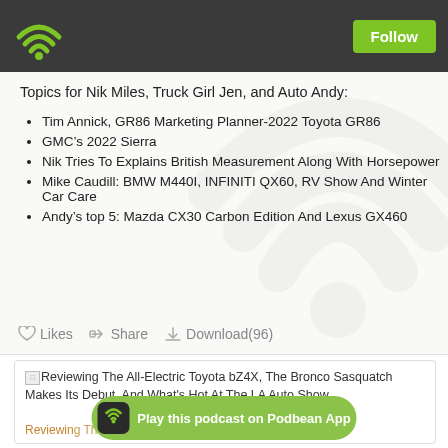Follow
Topics for Nik Miles, Truck Girl Jen, and Auto Andy:
Tim Annick, GR86 Marketing Planner-2022 Toyota GR86
GMC’s 2022 Sierra
Nik Tries To Explains British Measurement Along With Horsepower
Mike Caudill: BMW M440I, INFINITI QX60, RV Show And Winter Car Care
Andy’s top 5: Mazda CX30 Carbon Edition And Lexus GX460
Likes  Share  Download(96)
[Figure (screenshot): Reviewing The All-Electric Toyota bZ4X, The Bronco Sasquatch Makes Its Debut, And What's Hot At The LA Auto Show]
Play this podcast on Podbean App